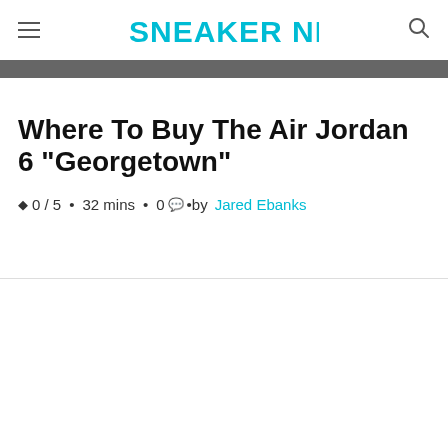SNEAKER NEWS
[Figure (other): Dark gray banner image strip at top of article]
Where To Buy The Air Jordan 6 "Georgetown"
0 / 5 • 32 mins • 0 •by Jared Ebanks